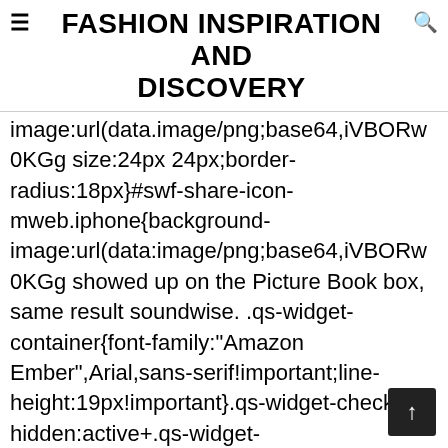≡ FASHION INSPIRATION AND DISCOVERY
image:url(data.image/png;base64,iVBORw0KGg size:24px 24px;border-radius:18px}#swf-share-icon-mweb.iphone{background-image:url(data:image/png;base64,iVBORw0KGg showed up on the Picture Book box, same result soundwise. .qs-widget-container{font-family:"Amazon Ember",Arial,sans-serif!important;line-height:19px!important}.qs-widget-checkbox-hidden:active+.qs-widget-container{visibility:hidden}.qs-widget-checkbox-hidden:active+.qs-widget-container>.qs-widget